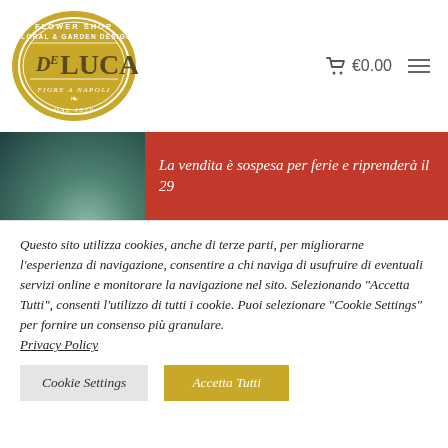[Figure (logo): De Luca Flower Shop logo: gold oval with text 'FLOWER SHOP FLORAL & GARDEN DESIGN DE LUCA FIORE A NAPOLI DAL 1870']
€0.00
[Figure (photo): Decorative banner with teal/green plant on left and red background on right]
La vendita è sospesa per ferie e riprenderà il 29
Questo sito utilizza cookies, anche di terze parti, per migliorarne l'esperienza di navigazione, consentire a chi naviga di usufruire di eventuali servizi online e monitorare la navigazione nel sito. Selezionando "Accetta Tutti", consenti l'utilizzo di tutti i cookie. Puoi selezionare "Cookie Settings" per fornire un consenso più granulare. Privacy Policy
Cookie Settings
Accetta Tutti